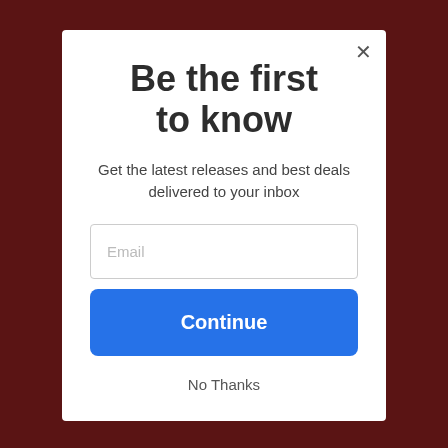[Figure (screenshot): Background showing a dark red/maroon website page partially obscured by a modal overlay]
Be the first to know
Get the latest releases and best deals delivered to your inbox
Email
Continue
No Thanks